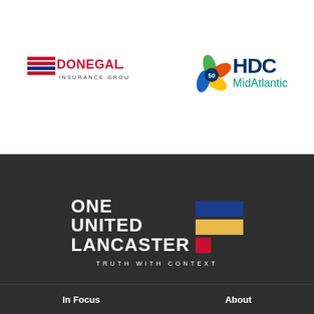[Figure (logo): Donegal Insurance Group logo — red mountain/flag icon with DONEGAL in red bold, INSURANCE GROUP below in smaller text]
[Figure (logo): HDC MidAtlantic logo — colorful flower/pinwheel icon with 50 in center, HDC in dark navy bold, MidAtlantic in teal below]
[Figure (logo): One United Lancaster logo — bold white text ONE UNITED LANCASTER with blue, yellow, and red bar accents; tagline TRUTH WITH CONTEXT below]
In Focus
About